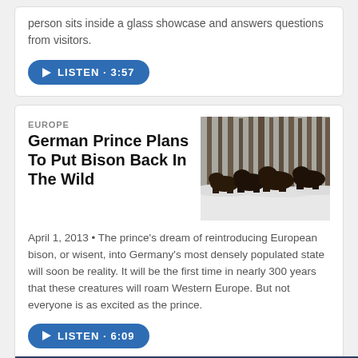person sits inside a glass showcase and answers questions from visitors.
[Figure (other): Listen button: LISTEN · 3:57]
EUROPE
German Prince Plans To Put Bison Back In The Wild
[Figure (photo): European bison (wisent) standing in snowy forest]
April 1, 2013 • The prince's dream of reintroducing European bison, or wisent, into Germany's most densely populated state will soon be reality. It will be the first time in nearly 300 years that these creatures will roam Western Europe. But not everyone is as excited as the prince.
[Figure (other): Listen button: LISTEN · 6:09]
WAMU 88.5 On Air Now OPEN ^